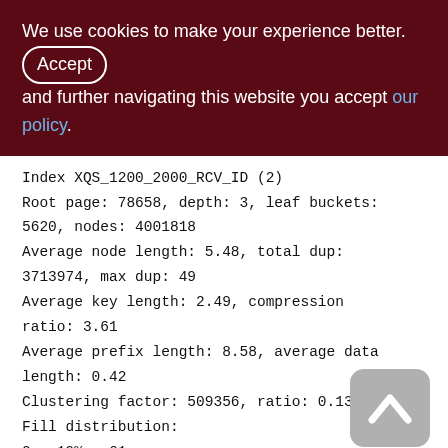We use cookies to make your experience better. By accepting and further navigating this website you accept our policy.
Index XQS_1200_2000_RCV_ID (2)
Root page: 78658, depth: 3, leaf buckets: 5620, nodes: 4001818
Average node length: 5.48, total dup: 3713974, max dup: 49
Average key length: 2.49, compression ratio: 3.61
Average prefix length: 8.58, average data length: 0.42
Clustering factor: 509356, ratio: 0.13
Fill distribution:
0 - 19% = 61